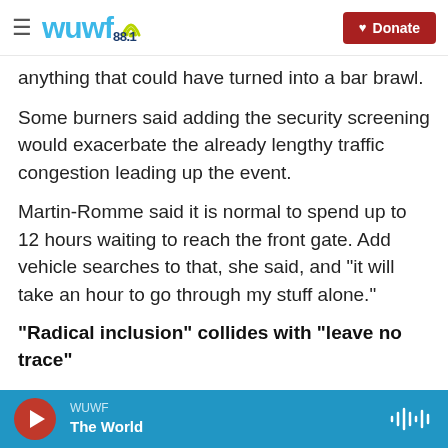wuwf 88.1 | Donate
anything that could have turned into a bar brawl.
Some burners said adding the security screening would exacerbate the already lengthy traffic congestion leading up the event.
Martin-Romme said it is normal to spend up to 12 hours waiting to reach the front gate. Add vehicle searches to that, she said, and "it will take an hour to go through my stuff alone."
"Radical inclusion" collides with "leave no trace"
Burners are supposed to bring everything needed
WUWF | The World